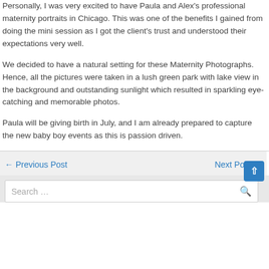Personally, I was very excited to have Paula and Alex's professional maternity portraits in Chicago. This was one of the benefits I gained from doing the mini session as I got the client's trust and understood their expectations very well.
We decided to have a natural setting for these Maternity Photographs. Hence, all the pictures were taken in a lush green park with lake view in the background and outstanding sunlight which resulted in sparkling eye-catching and memorable photos.
Paula will be giving birth in July, and I am already prepared to capture the new baby boy events as this is passion driven.
← Previous Post    Next Post →
Search ...